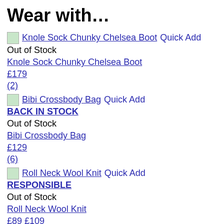Wear with…
Knole Sock Chunky Chelsea Boot Quick Add | Out of Stock | Knole Sock Chunky Chelsea Boot | £179 | (2)
Bibi Crossbody Bag Quick Add | BACK IN STOCK | Out of Stock | Bibi Crossbody Bag | £129 | (6)
Roll Neck Wool Knit Quick Add | RESPONSIBLE | Out of Stock | Roll Neck Wool Knit | £89 £109 | (1)
Indira Puff Sleeve Wool Coat Quick Add | Out of Stock | Indira Puff Sleeve Wool Coat | £249 £349 | (2)